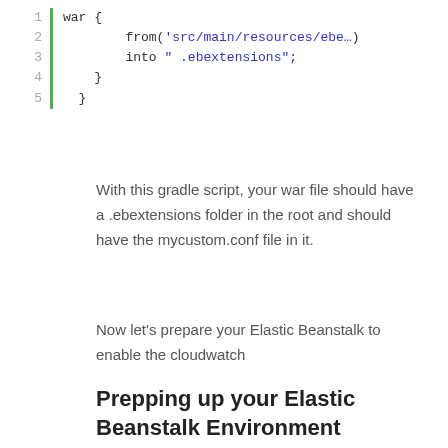[Figure (screenshot): Code block showing gradle war script with line numbers 1-5 and a green left border. Code: war { from('src/main/resources/ebe...') into ' .ebextensions'; } }]
With this gradle script, your war file should have a .ebextensions folder in the root and should have the mycustom.conf file in it.
Now let’s prepare your Elastic Beanstalk to enable the cloudwatch
Prepping up your Elastic Beanstalk Environment
To enable Cloudwatch for Elastic Beanstalk you need the following